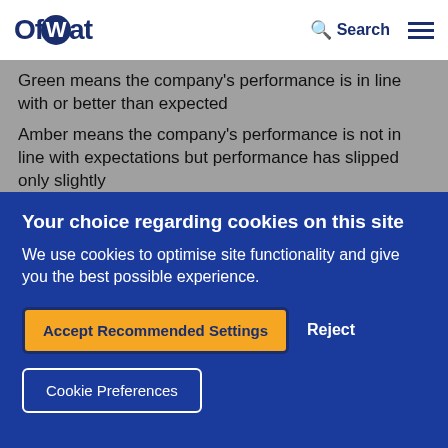Ofwat | Search | Menu
Green means the company's performance is in line with or better than expected
Amber means the company's performance is not in line with expectations but performance has slipped only slightly
Your choice regarding cookies on this site
We use cookies to optimise site functionality and give you the best possible experience.
Accept Recommended Settings
Reject
Cookie Preferences